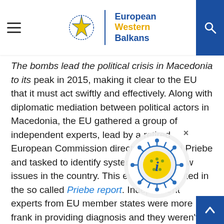European Western Balkans
The bombs lead the political crisis in Macedonia to its peak in 2015, making it clear to the EU that it must act swiftly and effectively. Along with diplomatic mediation between political actors in Macedonia, the EU gathered a group of independent experts, lead by a retired European Commission director Reinhard Priebe and tasked to identify systemic Rule of Law issues in the country. This endevour resulted in the so called Priebe report. Independent experts from EU member states were more frank in providing diagnosis and they weren't trapped in overly formalized structure of EU reports. Nevertheless, the fact that the Report  was commissioned and published by the European Commission endowed it with great authority.
The Priebe Report identified the security sector as an important theme of state-systematically related to…